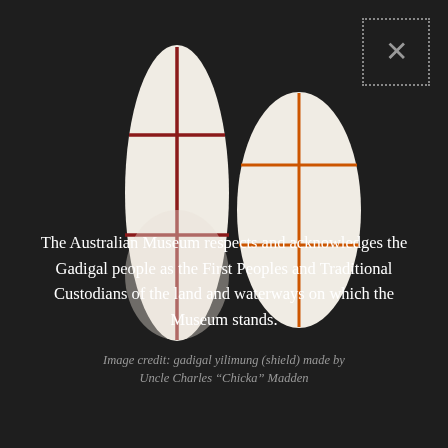[Figure (illustration): Two elongated oval shield shapes (gadigal yilimung shields) on a dark background. The left shield is taller and narrower, white/cream with dark red painted cross-hatch lines. The right shield is slightly shorter and wider, white/cream with orange painted cross-hatch lines.]
The Australian Museum respects and acknowledges the Gadigal people as the First Peoples and Traditional Custodians of the land and waterways on which the Museum stands.
Image credit: gadigal yilimung (shield) made by Uncle Charles "Chicka" Madden